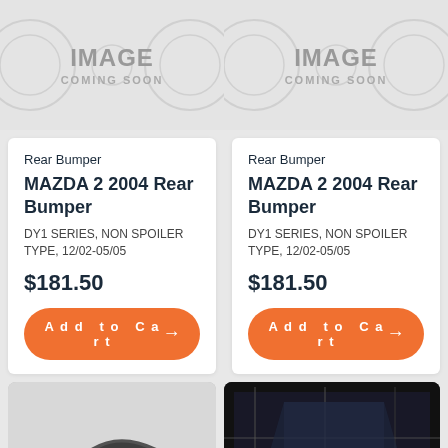[Figure (other): IMAGE COMING SOON placeholder - left]
[Figure (other): IMAGE COMING SOON placeholder - right]
Rear Bumper
MAZDA 2 2004 Rear Bumper
DY1 SERIES, NON SPOILER TYPE, 12/02-05/05
$181.50
Add to Cart →
Rear Bumper
MAZDA 2 2004 Rear Bumper
DY1 SERIES, NON SPOILER TYPE, 12/02-05/05
$181.50
Add to Cart →
[Figure (photo): Car side mirror photo - bottom left]
[Figure (photo): Car windshield/interior photo - bottom right]